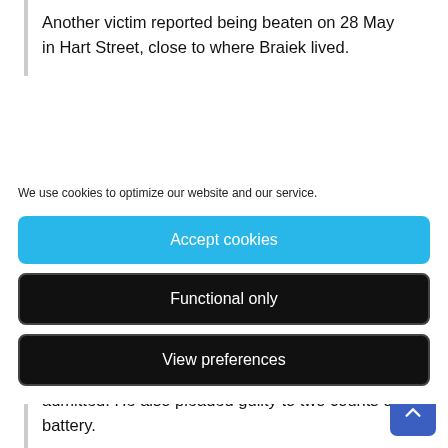Another victim reported being beaten on 28 May in Hart Street, close to where Braiek lived.
We use cookies to optimize our website and our service.
Accept cookies
Functional only
View preferences
harm with intent, which he had having previously admitted. He also pleaded guilty to two counts of battery.